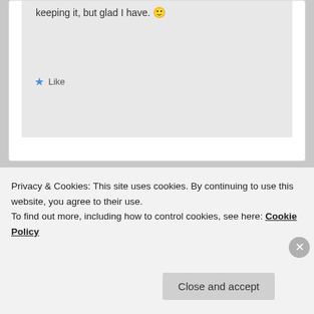keeping it, but glad I have. 🙂
★ Like
[Figure (logo): Film reel bracket logo with green left bracket and red right bracket]
fernandorafael on February 2, 2014 at 5:45 am
said:
Great, very honest review, man! In film,
Privacy & Cookies: This site uses cookies. By continuing to use this website, you agree to their use.
To find out more, including how to control cookies, see here: Cookie Policy
Close and accept